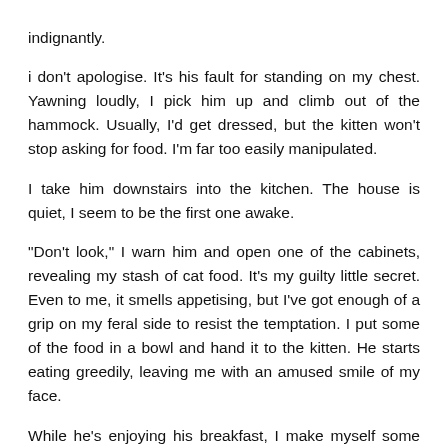indignantly.
i don't apologise. It's his fault for standing on my chest. Yawning loudly, I pick him up and climb out of the hammock. Usually, I'd get dressed, but the kitten won't stop asking for food. I'm far too easily manipulated.
I take him downstairs into the kitchen. The house is quiet, I seem to be the first one awake.
"Don't look," I warn him and open one of the cabinets, revealing my stash of cat food. It's my guilty little secret. Even to me, it smells appetising, but I've got enough of a grip on my feral side to resist the temptation. I put some of the food in a bowl and hand it to the kitten. He starts eating greedily, leaving me with an amused smile of my face.
While he's enjoying his breakfast, I make myself some beans on toast. It's that kind of day. In a way, the beans